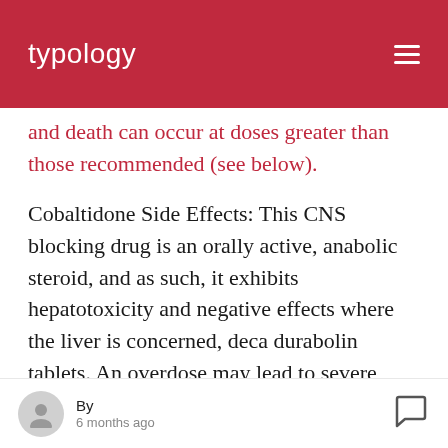typology
and death can occur at doses greater than those recommended (see below).
Cobaltidone Side Effects: This CNS blocking drug is an orally active, anabolic steroid, and as such, it exhibits hepatotoxicity and negative effects where the liver is concerned, deca durabolin tablets. An overdose may lead to severe hypotension, coma and death. Aspirin and cobaltidone are also potent inhibitors of prostaglandin generation and exert an
By
6 months ago